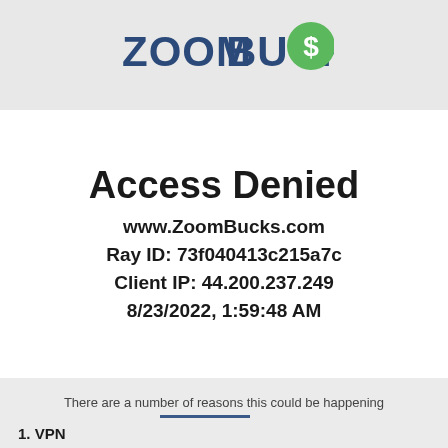[Figure (logo): ZoomBucks logo with green circle dollar sign icon]
Access Denied
www.ZoomBucks.com
Ray ID: 73f040413c215a7c
Client IP: 44.200.237.249
8/23/2022, 1:59:48 AM
There are a number of reasons this could be happening
1. VPN